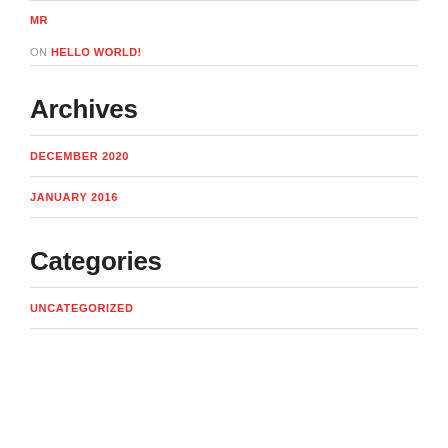MR
ON HELLO WORLD!
Archives
DECEMBER 2020
JANUARY 2016
Categories
UNCATEGORIZED